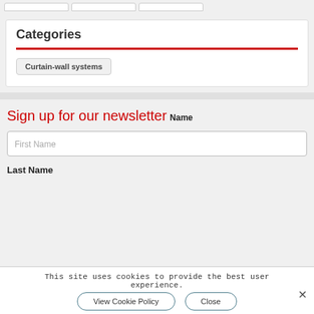Categories
Curtain-wall systems
Sign up for our newsletter
Name
First Name
Last Name
This site uses cookies to provide the best user experience.
View Cookie Policy
Close